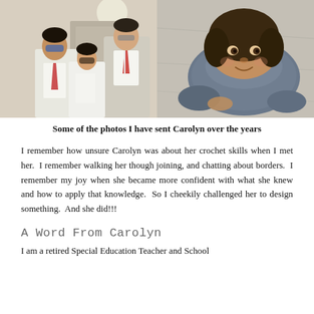[Figure (photo): Two side-by-side photos. Left: Two children and an adult wearing sunglasses, dressed in school uniforms with red ties, indoors. Right: A young boy in a grey scarf/wrap, smiling at camera from above outdoors.]
Some of the photos I have sent Carolyn over the years
I remember how unsure Carolyn was about her crochet skills when I met her.  I remember walking her though joining, and chatting about borders.  I remember my joy when she became more confident with what she knew and how to apply that knowledge.  So I cheekily challenged her to design something.  And she did!!!
A Word From Carolyn
I am a retired Special Education Teacher and School